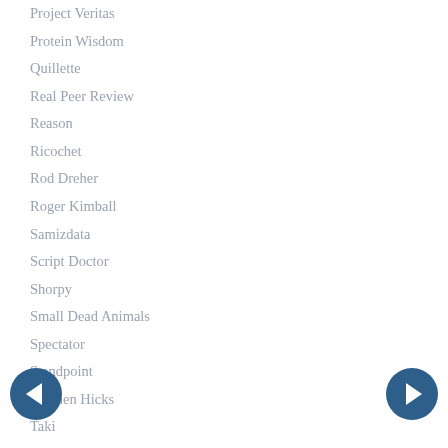Project Veritas
Protein Wisdom
Quillette
Real Peer Review
Reason
Ricochet
Rod Dreher
Roger Kimball
Samizdata
Script Doctor
Shorpy
Small Dead Animals
Spectator
Standpoint
Stephen Hicks
Taki
Theodore Dalrymple
Things
Tim Blair
Tim Newman
Tim Worstall
Twisted Sifter
Uncommon Knowledge